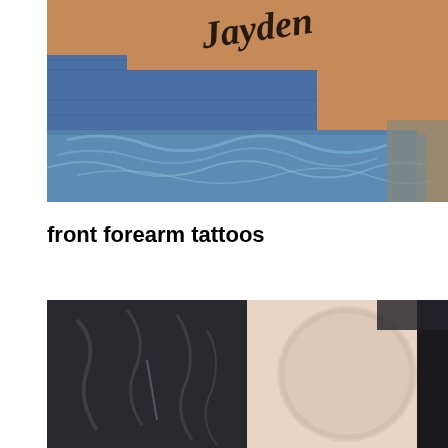[Figure (photo): Close-up photo of a forearm tattoo reading 'Jayden' in cursive script, with blue plastic wrap and denim jeans visible in the background.]
front forearm tattoos
[Figure (photo): Split photo showing a black leather jacket on the left side and a pale bare forearm on the right side, with a dark background.]